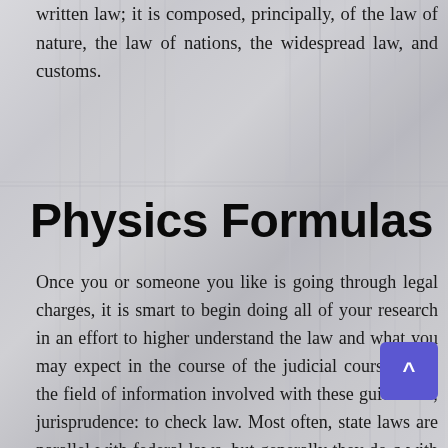written law; it is composed, principally, of the law of nature, the law of nations, the widespread law, and customs.
Physics Formulas
Once you or someone you like is going through legal charges, it is smart to begin doing all of your research in an effort to higher understand the law and what you may expect in the course of the judicial course of. 5. the field of information involved with these guidelines; jurisprudence: to check law. Most often, state laws are parallel with federal laws, but generally they do c with each other. The arrogance which people could have in a transparent rule of law will somehow urge them to be law-abiding...